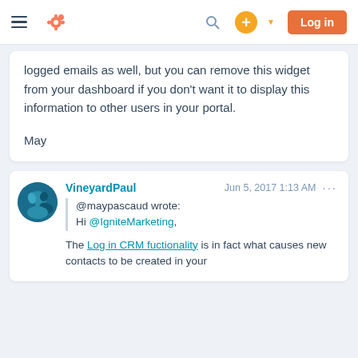HubSpot navigation bar with hamburger menu, HubSpot logo, search icon, plus button, and Log in button
logged emails as well, but you can remove this widget from your dashboard if you don't want it to display this information to other users in your portal.
May
VineyardPaul  Jun 5, 2017 1:13 AM  ...
@maypascaud wrote:
Hi @IgniteMarketing,

The Log in CRM fuctionality is in fact what causes new contacts to be created in your